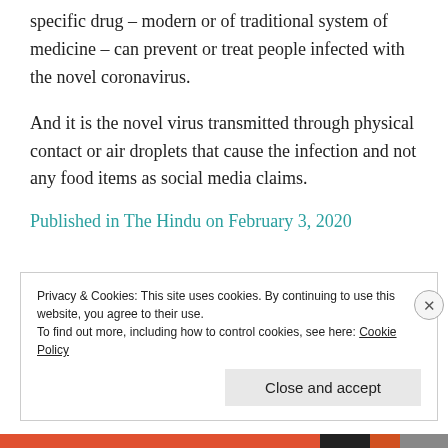specific drug – modern or of traditional system of medicine – can prevent or treat people infected with the novel coronavirus.
And it is the novel virus transmitted through physical contact or air droplets that cause the infection and not any food items as social media claims.
Published in The Hindu on February 3, 2020
Privacy & Cookies: This site uses cookies. By continuing to use this website, you agree to their use.
To find out more, including how to control cookies, see here: Cookie Policy
Close and accept